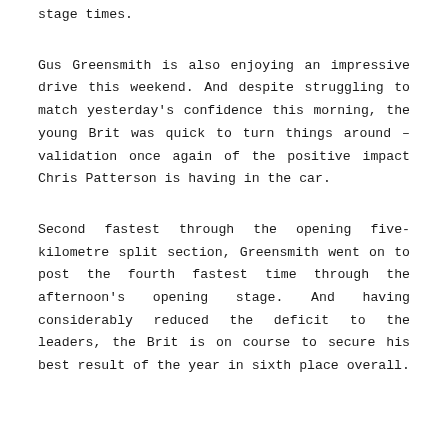stage times.
Gus Greensmith is also enjoying an impressive drive this weekend. And despite struggling to match yesterday's confidence this morning, the young Brit was quick to turn things around – validation once again of the positive impact Chris Patterson is having in the car.
Second fastest through the opening five-kilometre split section, Greensmith went on to post the fourth fastest time through the afternoon's opening stage. And having considerably reduced the deficit to the leaders, the Brit is on course to secure his best result of the year in sixth place overall.